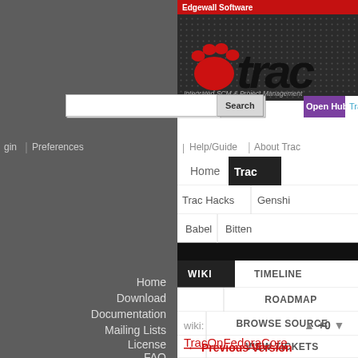[Figure (screenshot): Screenshot of Edgewall Software Trac project management website. Shows the Trac logo with paw prints, navigation tabs (Home, Trac, Trac Hacks, Genshi, Babel, Bitten), a black navigation bar with WIKI, TIMELINE, ROADMAP, BROWSE SOURCE, VIEW TICKETS, NEW TICKET, SEARCH menu items, a search box, Open Hub bar, left sidebar with Home/Download/Documentation/Mailing Lists/License/FAQ links, and a wiki breadcrumb showing TracOnFedoraCore with vote controls and Previous Version link.]